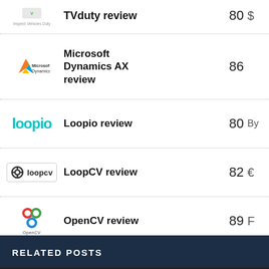| Logo | Name | Score | Extra |
| --- | --- | --- | --- |
| TVduty | TVduty review | 80 | $ |
| Microsoft Dynamics | Microsoft Dynamics AX review | 86 |  |
| Loopio | Loopio review | 80 | By |
| LoopCV | LoopCV review | 82 | € |
| OpenCV | OpenCV review | 89 | F |
RELATED POSTS